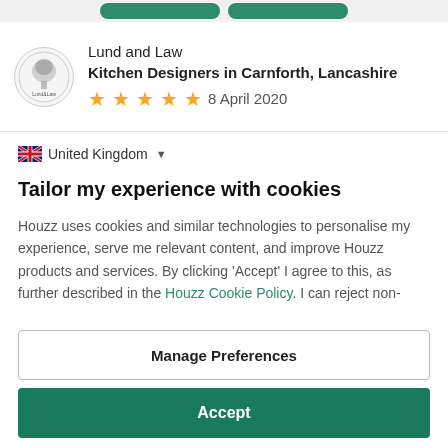[Figure (screenshot): Top navigation bar with two green buttons]
Lund and Law
Kitchen Designers in Carnforth, Lancashire
★★★★★  8 April 2020
🇬🇧 United Kingdom ▼
Tailor my experience with cookies
Houzz uses cookies and similar technologies to personalise my experience, serve me relevant content, and improve Houzz products and services. By clicking 'Accept' I agree to this, as further described in the Houzz Cookie Policy. I can reject non-
Manage Preferences
Accept